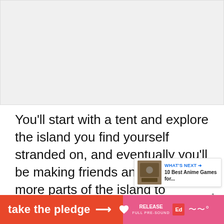[Figure (other): Advertisement placeholder area (gray box) at top of page]
You'll start with a tent and explore the island you find yourself stranded on, and eventually you'll be making friends and unlocking more parts of the island to explore. You'll also run into humanoid animals similar to Animal Crossing and you'll be able to help them out with their everyday lives. The usual activities are all here, such as fishing, growing crops, catching bugs, and so on – and they're just as fu...
[Figure (infographic): 'What's Next' overlay with thumbnail and text '10 Best Anime Games for...']
[Figure (infographic): Bottom banner advertisement: 'take the pledge' with arrow, RELEASE logo, and other logos]